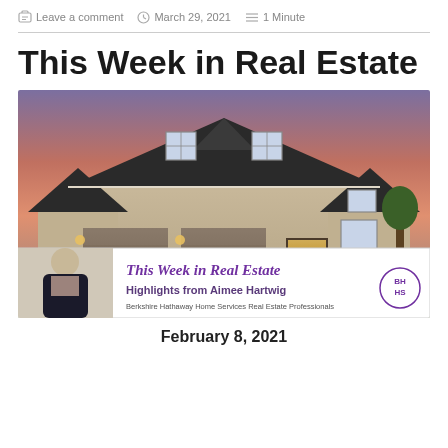Leave a comment   March 29, 2021   1 Minute
This Week in Real Estate
[Figure (photo): Promotional banner image for 'This Week in Real Estate – Highlights from Aimee Hartwig, Berkshire Hathaway Home Services Real Estate Professionals' showing a large craftsman-style home with a female agent photo and the BHHS logo.]
February 8, 2021